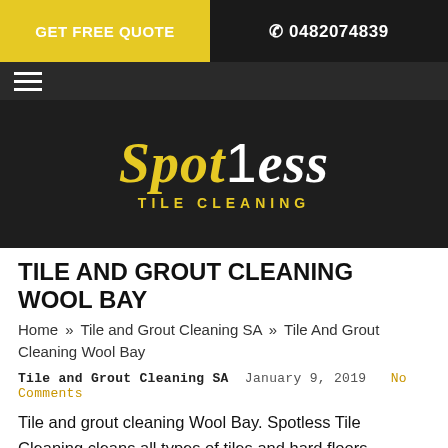GET FREE QUOTE | 0482074839
[Figure (logo): Spotless Tile Cleaning company logo with yellow and white stylized text on dark background]
TILE AND GROUT CLEANING WOOL BAY
Home » Tile and Grout Cleaning SA » Tile And Grout Cleaning Wool Bay
Tile and Grout Cleaning SA  January 9, 2019  No Comments
Tile and grout cleaning Wool Bay. Spotless Tile Cleaning cleans all types of tiles and hard floors including ceramic tiles, teracotta, terazzo, poreclain, victorian, poreclain others. Our tile cleaning process removes all the mo soap and residues from the tiles. 24/7 availability. Call